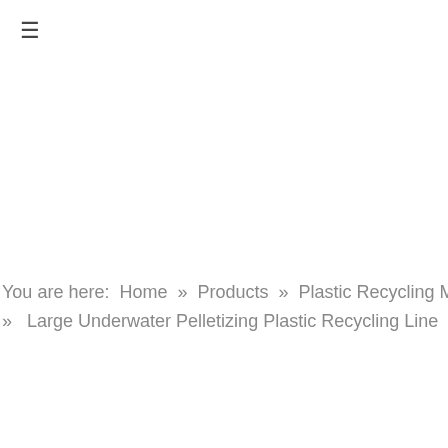≡
You are here:  Home  »  Products  »  Plastic Recycling Machine  »  Large Underwater Pelletizing Plastic Recycling Line